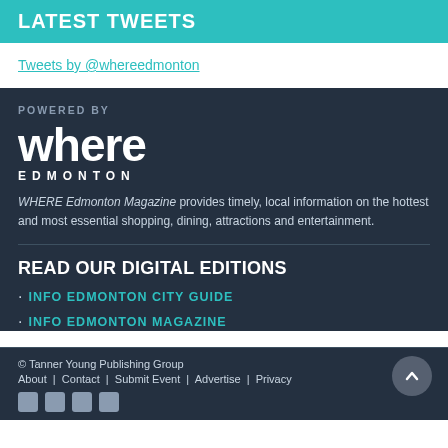LATEST TWEETS
Tweets by @whereedmonton
POWERED BY
[Figure (logo): Where Edmonton magazine logo — large 'where' text in white with 'EDMONTON' underneath in spaced capitals]
WHERE Edmonton Magazine provides timely, local information on the hottest and most essential shopping, dining, attractions and entertainment.
READ OUR DIGITAL EDITIONS
INFO EDMONTON CITY GUIDE
INFO EDMONTON MAGAZINE
© Tanner Young Publishing Group
About | Contact | Submit Event | Advertise | Privacy